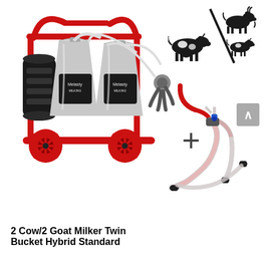[Figure (photo): Product image showing a red-frame twin-bucket milking machine with two stainless steel buckets, black motor/pump units, tubing, and red wheels (Melasty brand), plus a plus sign, plus a milking cluster/hose assembly with clear tubing and teat cups. Top right shows silhouette icons of cows and goats with a diagonal line (cow/goat hybrid indicator).]
2 Cow/2 Goat Milker Twin Bucket Hybrid Standard